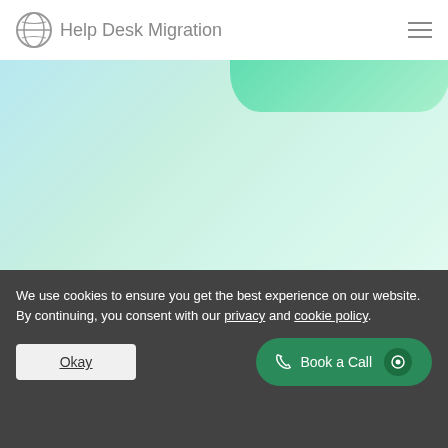Help Desk Migration
[Figure (illustration): Gradient background area with teal/blue-green colors and a raised green blob shape in the upper right portion]
We use cookies to ensure you get the best experience on our website. By continuing, you consent with our privacy and cookie policy.
Okay
Book a Call